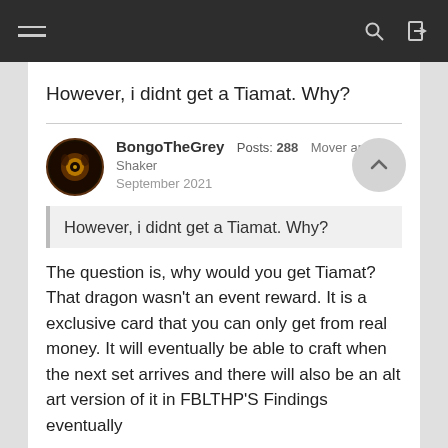However, i didnt get a Tiamat. Why?
BongoTheGrey  Posts: 288  Mover and Shaker  September 2021
However, i didnt get a Tiamat. Why?
The question is, why would you get Tiamat? That dragon wasn't an event reward. It is a exclusive card that you can only get from real money. It will eventually be able to craft when the next set arrives and there will also be an alt art version of it in FBLTHP'S Findings eventually